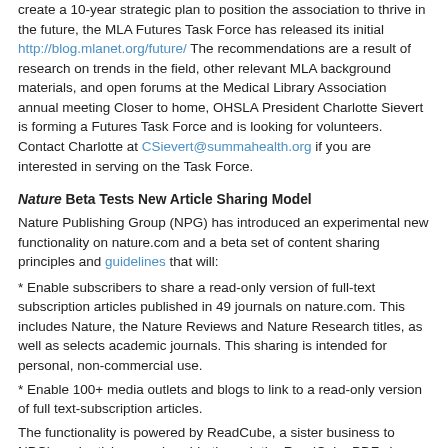create a 10-year strategic plan to position the association to thrive in the future, the MLA Futures Task Force has released its initial http://blog.mlanet.org/future/ The recommendations are a result of research on trends in the field, other relevant MLA background materials, and open forums at the Medical Library Association annual meeting Closer to home, OHSLA President Charlotte Sievert is forming a Futures Task Force and is looking for volunteers. Contact Charlotte at CSievert@summahealth.org if you are interested in serving on the Task Force.
Nature Beta Tests New Article Sharing Model
Nature Publishing Group (NPG) has introduced an experimental new functionality on nature.com and a beta set of content sharing principles and guidelines that will:
* Enable subscribers to share a read-only version of full-text subscription articles published in 49 journals on nature.com. This includes Nature, the Nature Reviews and Nature Research titles, as well as selects academic journals. This sharing is intended for personal, non-commercial use.
* Enable 100+ media outlets and blogs to link to a read-only version of full text-subscription articles.
The functionality is powered by ReadCube, a sister business to NPG), and articles are viewable through the ReadCube PDF viewer. Users are not